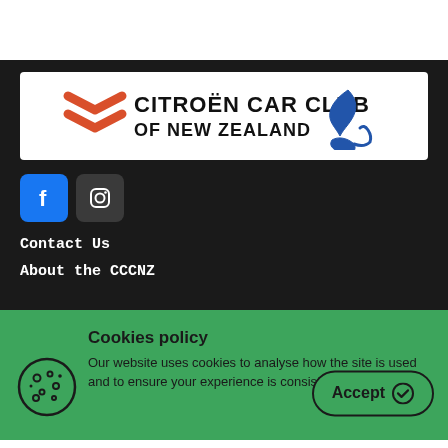[Figure (logo): Citroën Car Club of New Zealand logo with Citroën chevron icon in red and a blue map of New Zealand]
[Figure (logo): Facebook icon (blue square with white 'f')]
[Figure (logo): Instagram icon (dark square with camera outline)]
Contact Us
About the CCCNZ
Cookies policy
Our website uses cookies to analyse how the site is used and to ensure your experience is consistent between visits.